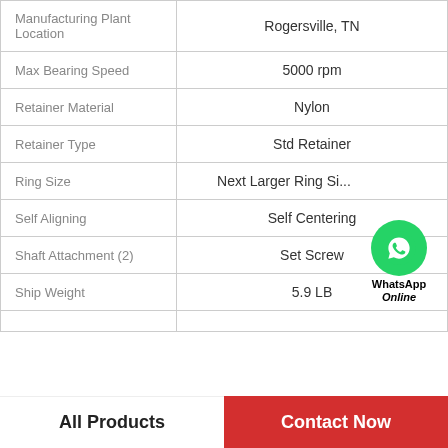| Property | Value |
| --- | --- |
| Manufacturing Plant Location | Rogersville, TN |
| Max Bearing Speed | 5000 rpm |
| Retainer Material | Nylon |
| Retainer Type | Std Retainer |
| Ring Size | Next Larger Ring Si... |
| Self Aligning | Self Centering |
| Shaft Attachment (2) | Set Screw |
| Ship Weight | 5.9 LB |
| UPC |  |